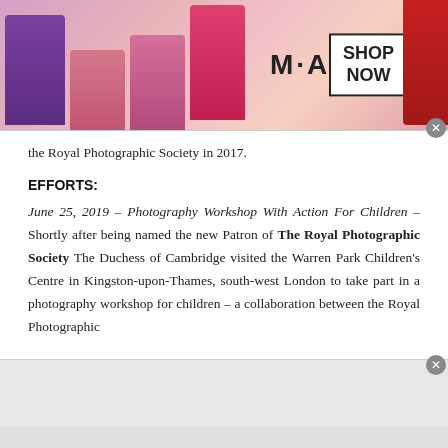[Figure (photo): MAC cosmetics advertisement banner showing lipsticks in purple, pink, and red, MAC logo text, and a 'SHOP NOW' button in a bordered box]
the Royal Photographic Society in 2017.
EFFORTS:
June 25, 2019 – Photography Workshop With Action For Children – Shortly after being named the new Patron of The Royal Photographic Society The Duchess of Cambridge visited the Warren Park Children's Centre in Kingston-upon-Thames, south-west London to take part in a photography workshop for children – a collaboration between the Royal Photographic
[Figure (photo): Wayfair advertisement banner showing wayfair logo, 'Top Appliances Low Prices' text, image of a kitchen appliance/range, and 'Save on best selling brands that live up to the hype' with a purple 'Shop now' button]